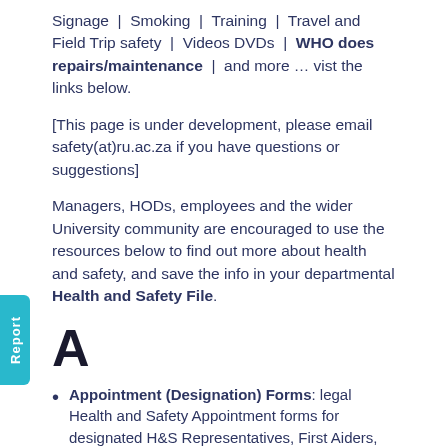Signage | Smoking | Training | Travel and Field Trip safety | Videos DVDs | WHO does repairs/maintenance | and more … vist the links below.
[This page is under development, please email safety(at)ru.ac.za if you have questions or suggestions]
Managers, HODs, employees and the wider University community are encouraged to use the resources below to find out more about health and safety, and save the info in your departmental Health and Safety File.
A
Appointment (Designation) Forms: legal Health and Safety Appointment forms for designated H&S Representatives, First Aiders, Fire Marshals, and other related